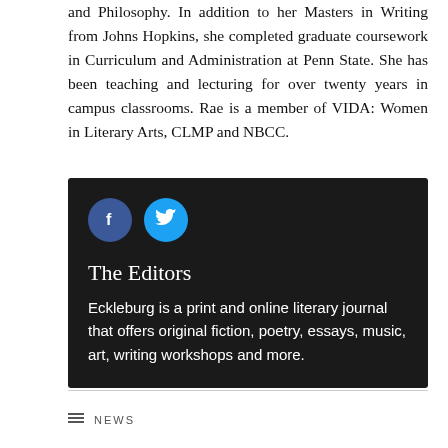and Philosophy. In addition to her Masters in Writing from Johns Hopkins, she completed graduate coursework in Curriculum and Administration at Penn State. She has been teaching and lecturing for over twenty years in campus classrooms. Rae is a member of VIDA: Women in Literary Arts, CLMP and NBCC.
[Figure (infographic): Dark background box with Facebook and Twitter social media icons, author name 'The Editors', and a description of Eckleburg literary journal.]
The Editors
Eckleburg is a print and online literary journal that offers original fiction, poetry, essays, music, art, writing workshops and more.
NEWS